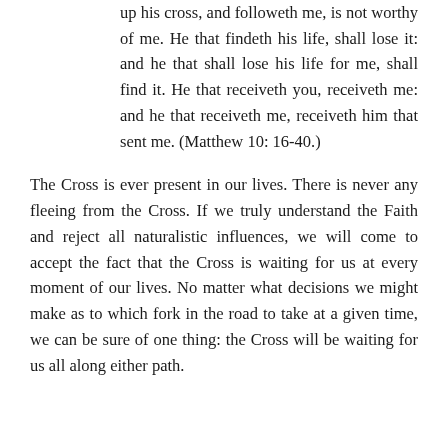up his cross, and followeth me, is not worthy of me. He that findeth his life, shall lose it: and he that shall lose his life for me, shall find it. He that receiveth you, receiveth me: and he that receiveth me, receiveth him that sent me. (Matthew 10: 16-40.)
The Cross is ever present in our lives. There is never any fleeing from the Cross. If we truly understand the Faith and reject all naturalistic influences, we will come to accept the fact that the Cross is waiting for us at every moment of our lives. No matter what decisions we might make as to which fork in the road to take at a given time, we can be sure of one thing: the Cross will be waiting for us all along either path.